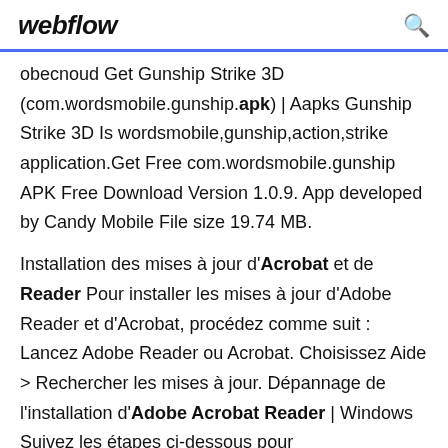webflow
obecnoud Get Gunship Strike 3D (com.wordsmobile.gunship.apk) | Aapks Gunship Strike 3D Is wordsmobile,gunship,action,strike application.Get Free com.wordsmobile.gunship APK Free Download Version 1.0.9. App developed by Candy Mobile File size 19.74 MB.
Installation des mises à jour d'Acrobat et de Reader Pour installer les mises à jour d'Adobe Reader et d'Acrobat, procédez comme suit : Lancez Adobe Reader ou Acrobat. Choisissez Aide > Rechercher les mises à jour. Dépannage de l'installation d'Adobe Acrobat Reader | Windows Suivez les étapes ci-dessous pour